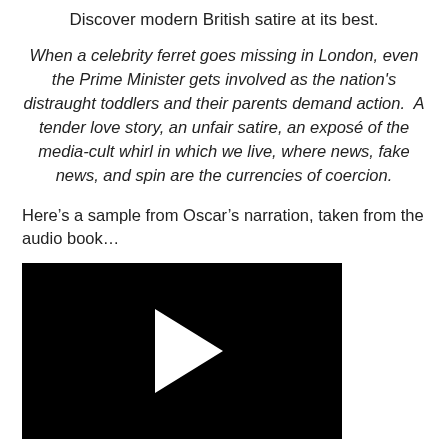Discover modern British satire at its best.
When a celebrity ferret goes missing in London, even the Prime Minister gets involved as the nation's distraught toddlers and their parents demand action.  A tender love story, an unfair satire, an exposé of the media-cult whirl in which we live, where news, fake news, and spin are the currencies of coercion.
Here's a sample from Oscar's narration, taken from the audio book…
[Figure (other): Black video player thumbnail with a white play button triangle in the center]